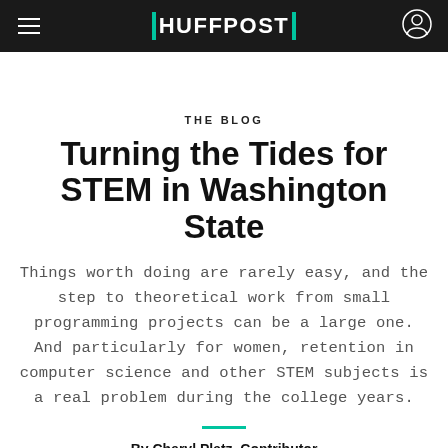HUFFPOST
THE BLOG
Turning the Tides for STEM in Washington State
Things worth doing are rarely easy, and the step to theoretical work from small programming projects can be a large one. And particularly for women, retention in computer science and other STEM subjects is a real problem during the college years.
By Cheryl Platz, Contributor